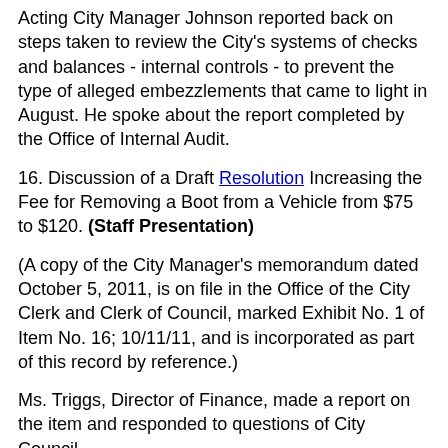Acting City Manager Johnson reported back on steps taken to review the City's systems of checks and balances - internal controls - to prevent the type of alleged embezzlements that came to light in August. He spoke about the report completed by the Office of Internal Audit.
16. Discussion of a Draft Resolution Increasing the Fee for Removing a Boot from a Vehicle from $75 to $120. (Staff Presentation)
(A copy of the City Manager's memorandum dated October 5, 2011, is on file in the Office of the City Clerk and Clerk of Council, marked Exhibit No. 1 of Item No. 16; 10/11/11, and is incorporated as part of this record by reference.)
Ms. Triggs, Director of Finance, made a report on the item and responded to questions of City Council.
WHEREUPON, upon motion by Councilwoman Hughes, seconded by Vice Mayor Donley and carried